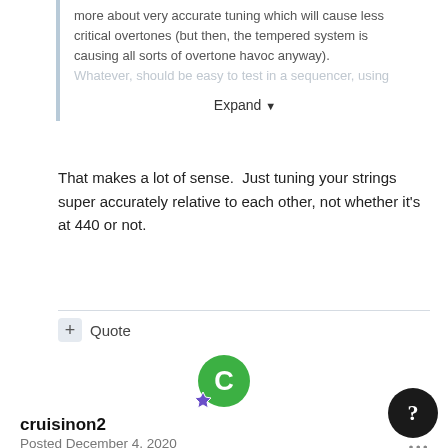more about very accurate tuning which will cause less critical overtones (but then, the tempered system is causing all sorts of overtone havoc anyway). Whatever, should be easy to test in a sequencer, using
Expand
That makes a lot of sense.  Just tuning your strings super accurately relative to each other, not whether it's at 440 or not.
+ Quote
cruisinon2
Posted December 4, 2020
Intonation, gents... intonation. You can tune up with the strobe tuner in the known universe all day long, and if the guitar's intonation is not spot on, it will wreak havoc with pitch